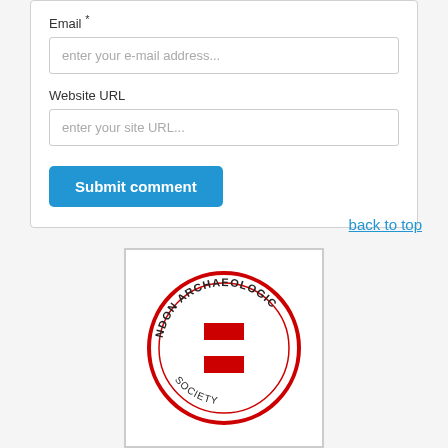Email *
enter your e-mail address...
Website URL
enter your site URL...
Submit comment
back to top
[Figure (logo): London Archaeological Society circular logo with red cross and text arc reading NDON ARCHAEOLOGIC]